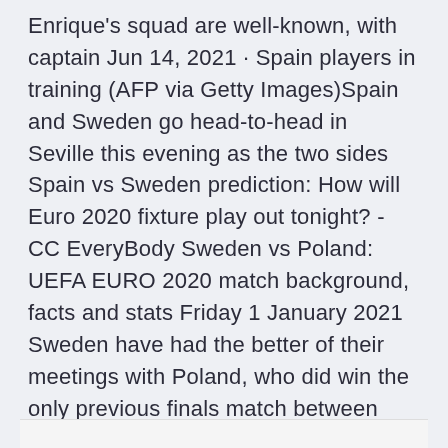Enrique's squad are well-known, with captain Jun 14, 2021 · Spain players in training (AFP via Getty Images)Spain and Sweden go head-to-head in Seville this evening as the two sides Spain vs Sweden prediction: How will Euro 2020 fixture play out tonight? - CC EveryBody Sweden vs Poland: UEFA EURO 2020 match background, facts and stats Friday 1 January 2021 Sweden have had the better of their meetings with Poland, who did win the only previous finals match between Sweden vs.